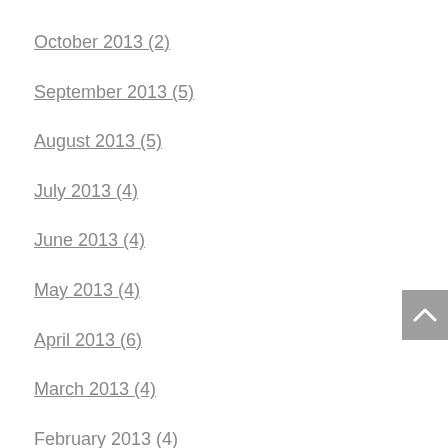October 2013 (2)
September 2013 (5)
August 2013 (5)
July 2013 (4)
June 2013 (4)
May 2013 (4)
April 2013 (6)
March 2013 (4)
February 2013 (4)